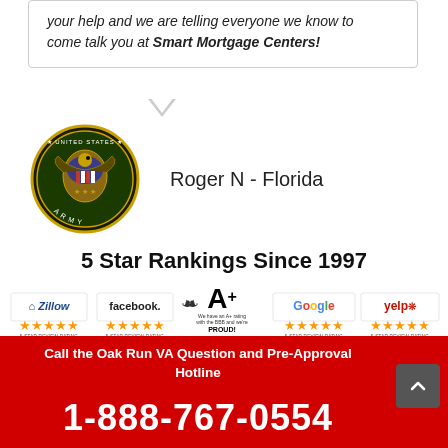your help and we are telling everyone we know to come talk you at Smart Mortgage Centers!
Roger N - Florida
[Figure (logo): United States Army circular seal logo]
5 Star Rankings Since 1997
[Figure (logo): Zillow 5-star review rating badge]
[Figure (logo): Facebook 5-star review rating badge]
[Figure (logo): BBB A+ rating badge - We have an A+ rating with the BBB and we're PROUD!]
[Figure (logo): Google 5-star review rating badge]
[Figure (logo): Yelp 5-star review rating badge]
Call the Oak Run VA Question and Pre-Approval Hotline
1-888-767-0554